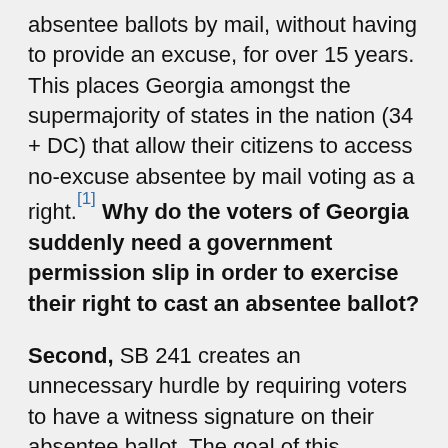absentee ballots by mail, without having to provide an excuse, for over 15 years. This places Georgia amongst the supermajority of states in the nation (34 + DC) that allow their citizens to access no-excuse absentee by mail voting as a right.[1] Why do the voters of Georgia suddenly need a government permission slip in order to exercise their right to cast an absentee ballot?
Second, SB 241 creates an unnecessary hurdle by requiring voters to have a witness signature on their absentee ballot. The goal of this provision is to solve a problem that does not exist. An